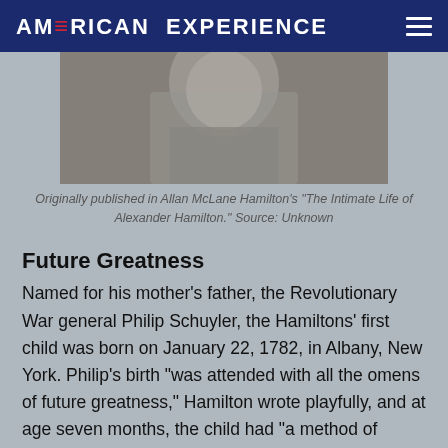AMERICAN EXPERIENCE
[Figure (photo): Black and white historical photograph of a person, partially visible, cropped at top of page.]
Originally published in Allan McLane Hamilton's "The Intimate Life of Alexander Hamilton." Source: Unknown
Future Greatness
Named for his mother's father, the Revolutionary War general Philip Schuyler, the Hamiltons' first child was born on January 22, 1782, in Albany, New York. Philip's birth "was attended with all the omens of future greatness," Hamilton wrote playfully, and at age seven months, the child had "a method of waving his hand that announces the future orator." Such statements were all in fun, except